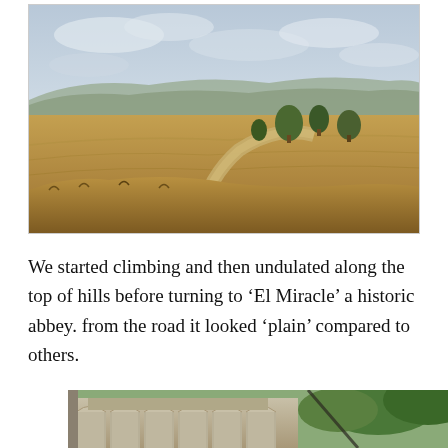[Figure (photo): Landscape photo of rolling countryside with dry golden fields, a winding dirt path, scattered trees, and distant hills under a cloudy grey sky.]
We started climbing and then undulated along the top of hills before turning to ‘El Miracle’ a historic abbey. from the road it looked ‘plain’ compared to others.
[Figure (photo): Photo of a historic stone abbey building with arched colonnades and trees in the foreground.]